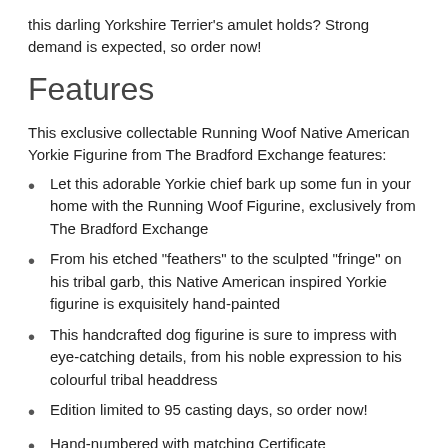this darling Yorkshire Terrier's amulet holds? Strong demand is expected, so order now!
Features
This exclusive collectable Running Woof Native American Yorkie Figurine from The Bradford Exchange features:
Let this adorable Yorkie chief bark up some fun in your home with the Running Woof Figurine, exclusively from The Bradford Exchange
From his etched "feathers" to the sculpted "fringe" on his tribal garb, this Native American inspired Yorkie figurine is exquisitely hand-painted
This handcrafted dog figurine is sure to impress with eye-catching details, from his noble expression to his colourful tribal headdress
Edition limited to 95 casting days, so order now!
Hand-numbered with matching Certificate authenticating your figurine is an original from The Bradford Exchange
Measures 11.4 cm H; 4-1/2" H